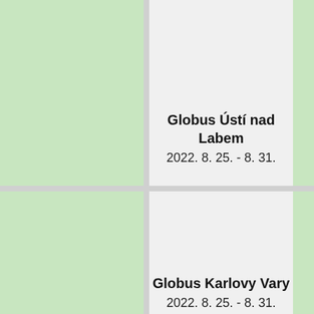Globus Ústí nad Labem
2022. 8. 25. - 8. 31.
Globus Karlovy Vary
2022. 8. 25. - 8. 31.